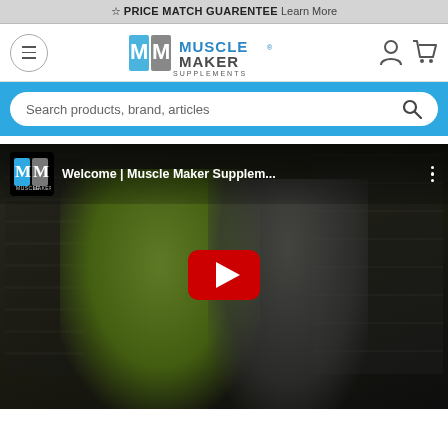☆ PRICE MATCH GUARENTEE Learn More
[Figure (logo): Muscle Maker Supplements logo with hamburger menu, user and cart icons]
Search products, brand, articles
[Figure (screenshot): YouTube embedded video thumbnail: Welcome | Muscle Maker Supplem... showing two people embracing in a supplement store with a YouTube play button overlay]